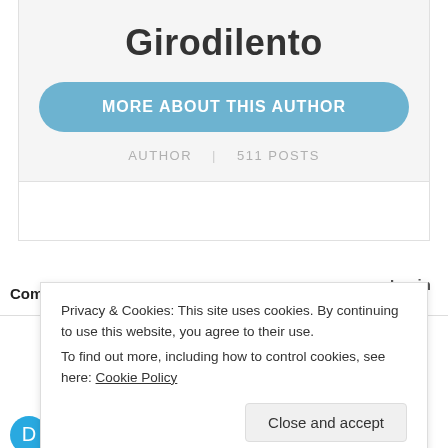Girodilento
MORE ABOUT THIS AUTHOR
AUTHOR | 511 POSTS
Comments  Community  🔒 Privacy Policy  1  Login
Privacy & Cookies: This site uses cookies. By continuing to use this website, you agree to their use.
To find out more, including how to control cookies, see here: Cookie Policy
Close and accept